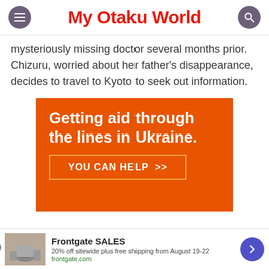My Otaku World
mysteriously missing doctor several months prior. Chizuru, worried about her father's disappearance, decides to travel to Kyoto to seek out information.
[Figure (infographic): Orange advertisement banner reading 'Getting aid through the lines in Ukraine.' with a 'YOU CAN HELP >>' button]
[Figure (infographic): Bottom banner ad for Frontgate SALES: 20% off sitewide plus free shipping from August 19-22, frontgate.com]